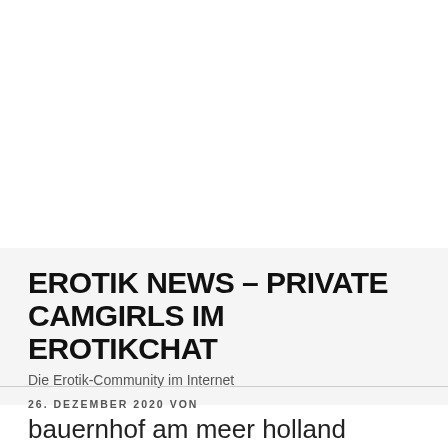EROTIK NEWS – PRIVATE CAMGIRLS IM EROTIKCHAT
Die Erotik-Community im Internet
26. DEZEMBER 2020 VON
bauernhof am meer holland